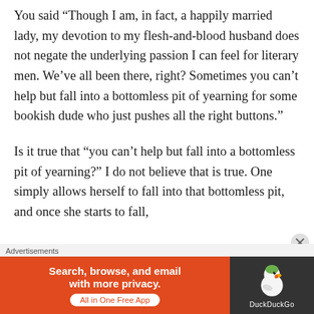You said “Though I am, in fact, a happily married lady, my devotion to my flesh-and-blood husband does not negate the underlying passion I can feel for literary men. We’ve all been there, right? Sometimes you can’t help but fall into a bottomless pit of yearning for some bookish dude who just pushes all the right buttons.”
Is it true that “you can’t help but fall into a bottomless pit of yearning?” I do not believe that is true. One simply allows herself to fall into that bottomless pit, and once she starts to fall,
Advertisements
[Figure (infographic): DuckDuckGo advertisement banner with orange background on left showing 'Search, browse, and email with more privacy. All in One Free App' and dark background on right with DuckDuckGo duck logo and name.]